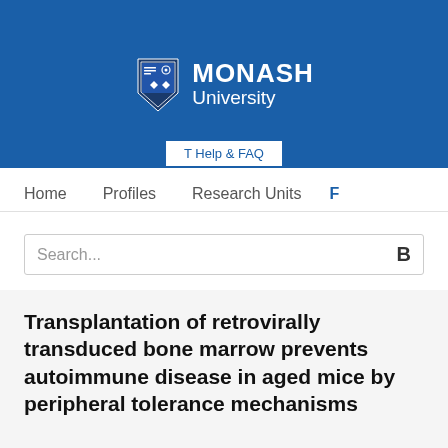[Figure (logo): Monash University logo with shield crest and white text on blue background]
T Help & FAQ
Home   Profiles   Research Units   F
Search...
Transplantation of retrovirally transduced bone marrow prevents autoimmune disease in aged mice by peripheral tolerance mechanisms